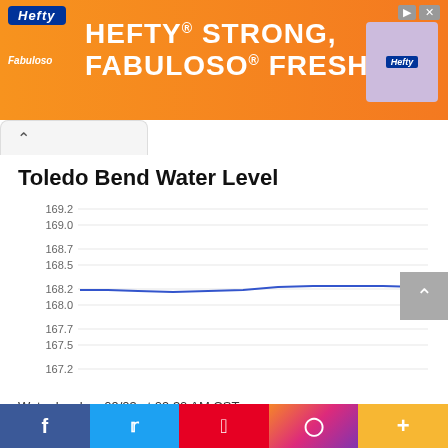[Figure (other): Hefty brand advertisement banner with orange background. Text reads 'HEFTY STRONG, FABULOSO FRESH'. Includes Hefty and Fabuloso logos.]
Toledo Bend Water Level
[Figure (line-chart): Line chart showing Toledo Bend water level over time. Y-axis ranges from 167.2 to 169.2. The blue line is nearly flat around 168.2 ft.]
Water level on 09/03 at 09:30 AM CST
168.23 ft  ↓ 3.77
[Figure (other): Bottom social media share bar with Facebook, Twitter, Pinterest, Instagram and More buttons]